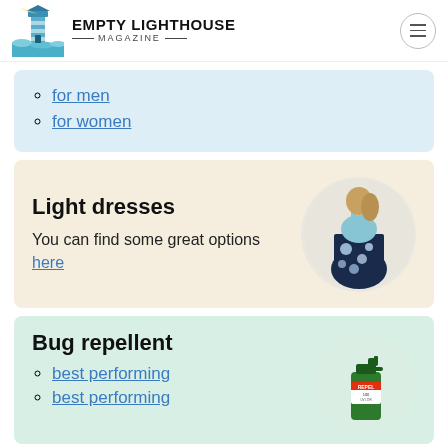EMPTY LIGHTHOUSE MAGAZINE
for men
for women
Light dresses
You can find some great options here
[Figure (photo): Woman wearing a light blue and navy floral maxi dress]
Bug repellent
best performing
best performing
[Figure (photo): Green Repel bug repellent spray bottle]